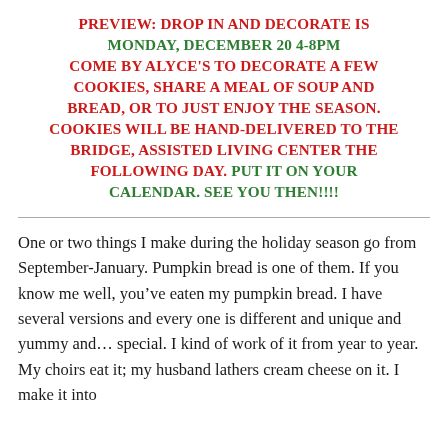PREVIEW:  DROP IN AND DECORATE IS MONDAY, DECEMBER 20 4-8PM COME BY ALYCE'S TO DECORATE A FEW COOKIES, SHARE A MEAL OF SOUP AND BREAD, OR TO JUST ENJOY THE SEASON.  COOKIES WILL BE HAND-DELIVERED TO THE BRIDGE, ASSISTED LIVING CENTER THE FOLLOWING DAY.  PUT IT ON YOUR CALENDAR.  SEE YOU THEN!!!!
One or two things I make during the holiday season go from September-January.  Pumpkin bread is one of them.  If you know me well, you've eaten my pumpkin bread.  I have several versions and every one is different and unique and yummy and... special.  I kind of work of it from year to year.  My choirs eat it; my husband lathers cream cheese on it.  I make it into